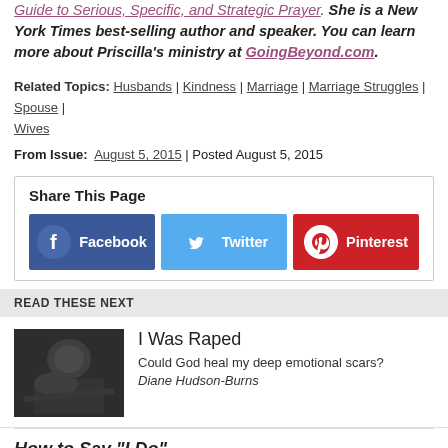Guide to Serious, Specific, and Strategic Prayer. She is a New York Times best-selling author and speaker. You can learn more about Priscilla's ministry at GoingBeyond.com.
Related Topics: Husbands | Kindness | Marriage | Marriage Struggles | Spouse | Wives
From Issue: August 5, 2015 | Posted August 5, 2015
Share This Page
[Figure (infographic): Share buttons for Facebook, Twitter, and Pinterest]
READ THESE NEXT
[Figure (photo): Black and white photo of a woman lying down looking distressed]
I Was Raped
Could God heal my deep emotional scars?
Diane Hudson-Burns